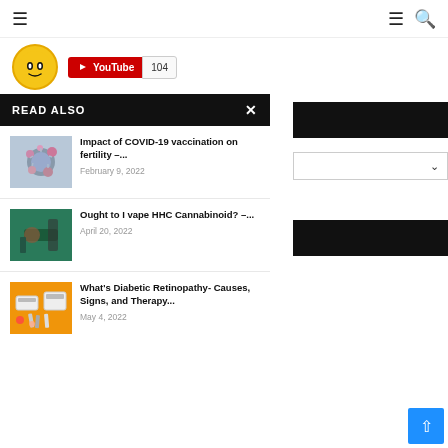≡  ≡ 🔍
[Figure (logo): Yellow circular logo with a cartoon face, next to a YouTube subscribe button showing 104 subscribers]
READ ALSO
[Figure (photo): Microscope image of COVID-19 virus particles]
Impact of COVID-19 vaccination on fertility –...
February 9, 2022
[Figure (photo): Hands holding a cannabis product, vaping related]
Ought to I vape HHC Cannabinoid? –...
April 20, 2022
[Figure (photo): Diabetic retinopathy test equipment on orange background]
What's Diabetic Retinopathy- Causes, Signs, and Therapy...
May 4, 2022